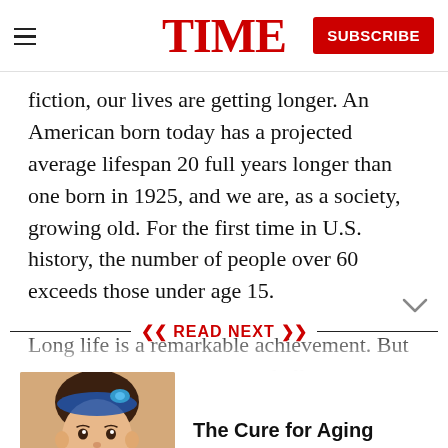TIME | SUBSCRIBE
fiction, our lives are getting longer. An American born today has a projected average lifespan 20 full years longer than one born in 1925, and we are, as a society, growing old. For the first time in U.S. history, the number of people over 60 exceeds those under age 15.
Long life is a remarkable achievement. But our aging society presents challenges every bit as
READ NEXT
[Figure (photo): Baby with blue headband accessory, used as article thumbnail for 'The Cure for Aging']
The Cure for Aging